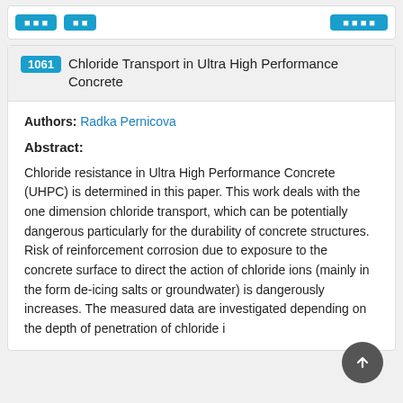1061 Chloride Transport in Ultra High Performance Concrete
Authors: Radka Pernicova
Abstract:
Chloride resistance in Ultra High Performance Concrete (UHPC) is determined in this paper. This work deals with the one dimension chloride transport, which can be potentially dangerous particularly for the durability of concrete structures. Risk of reinforcement corrosion due to exposure to the concrete surface to direct the action of chloride ions (mainly in the form de-icing salts or groundwater) is dangerously increases. The measured data are investigated depending on the depth of penetration of chloride i...